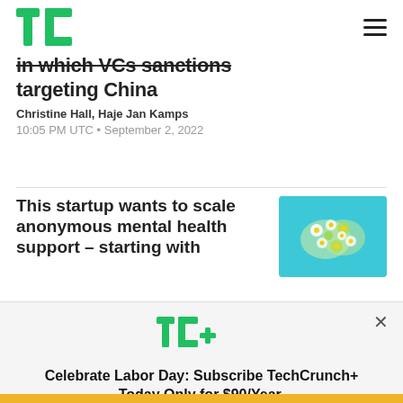TechCrunch
...in which VCs sanctions targeting China
Christine Hall, Haje Jan Kamps
10:05 PM UTC • September 2, 2022
This startup wants to scale anonymous mental health support – starting with
[Figure (photo): Flower arrangement in shape of a brain on blue background]
[Figure (logo): TC+ TechCrunch Plus logo in green]
Celebrate Labor Day: Subscribe TechCrunch+ Today Only for $90/Year.
GET OFFER NOW